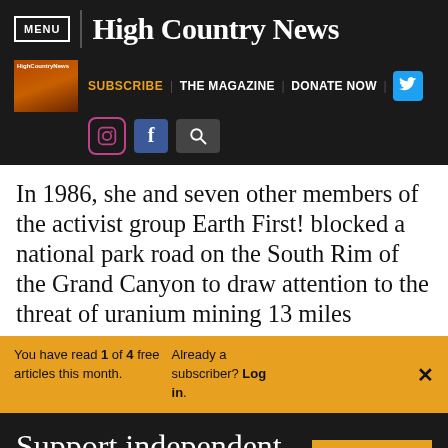MENU | High Country News
[Figure (screenshot): High Country News website navigation bar with magazine thumbnail, SUBSCRIBE, THE MAGAZINE, DONATE NOW links, and social media icons for Twitter, Instagram, Facebook, and a search icon]
In 1986, she and seven other members of the activist group Earth First! blocked a national park road on the South Rim of the Grand Canyon to draw attention to the threat of uranium mining 13 miles
You have read 1 of 4 free articles this month. Already a subscriber? Log in. ×
Support independent journalism. Subscribe